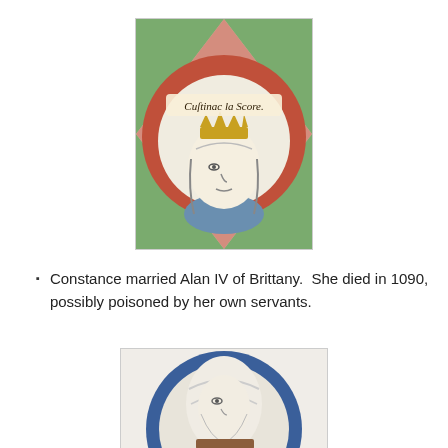[Figure (illustration): Medieval manuscript illustration of a crowned female figure (Constance) shown in a circular medallion with decorative border. Gothic script text reads 'Custinac la Scone' or similar around the top of the medallion. Background has green, red and white geometric pattern.]
Constance married Alan IV of Brittany.  She died in 1090, possibly poisoned by her own servants.
[Figure (illustration): Medieval manuscript illustration of a female figure shown in a circular blue medallion, wearing a white head covering, depicted from the shoulders up. Partial view with brown detail at bottom edge.]